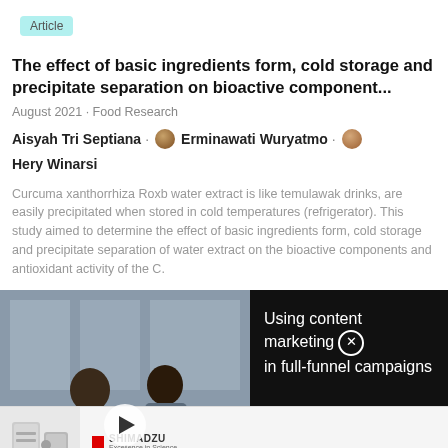Article
The effect of basic ingredients form, cold storage and precipitate separation on bioactive component...
August 2021 · Food Research
Aisyah Tri Septiana · Erminawati Wuryatmo · Hery Winarsi
Curcuma xanthorrhiza Roxb water extract is like temulawak drinks, are easily precipitated when stored in cold temperatures (refrigerator). This study aimed to determine the effect of basic ingredients form, cold storage and precipitate separation of water extract on the bioactive components and antioxidant activity of the C.
[Figure (screenshot): Video thumbnail showing two people working at a desk with text overlay 'USING CONTENT MARKETING IN FULL-FUNNEL CAMPAIGNS' and a play button. Beside the thumbnail on black background: 'Using content marketing in full-funnel campaigns' with close button.]
[Figure (photo): Ad banner showing laboratory equipment (mass spectrometer) on the left, Shimadzu logo and tagline 'Excellence in Science', and text 'Unique mass spec imaging system'.]